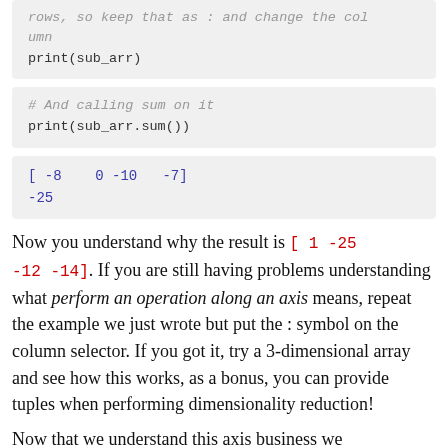rows, so keep that as : and change the column
print(sub_arr)
# And calling sum on it
print(sub_arr.sum())
[ -8   0 -10  -7]
-25
Now you understand why the result is [ 1 -25 -12 -14]. If you are still having problems understanding what perform an operation along an axis means, repeat the example we just wrote but put the : symbol on the column selector. If you got it, try a 3-dimensional array and see how this works, as a bonus, you can provide tuples when performing dimensionality reduction!
Now that we understand this axis business we